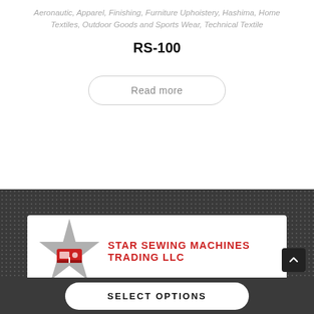Aeronautic, Apparel, Finishing, Furniture Uphoistery, Hashima, Home Textiles, Outdoor Goods and Sports Wear, Technical Textile
RS-100
Read more
[Figure (logo): Star Sewing Machines Trading LLC logo: a grey star shape with a red sewing machine icon in the center, followed by bold red text reading STAR SEWING MACHINES TRADING LLC]
SELECT OPTIONS